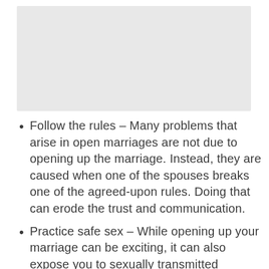[Figure (other): Light gray rectangular placeholder image at the top of the page]
Follow the rules – Many problems that arise in open marriages are not due to opening up the marriage. Instead, they are caused when one of the spouses breaks one of the agreed-upon rules. Doing that can erode the trust and communication.
Practice safe sex – While opening up your marriage can be exciting, it can also expose you to sexually transmitted diseases and infections,